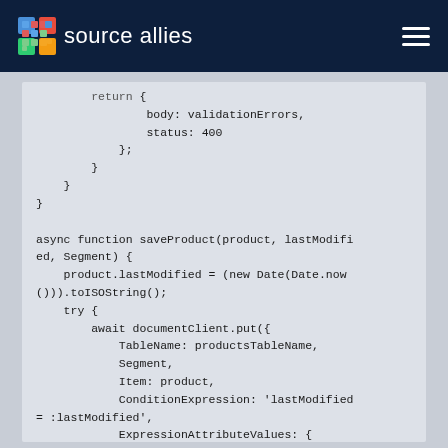source allies
[Figure (screenshot): Code snippet showing JavaScript functions: end of a function returning body: validationErrors and status: 400, followed by an async function saveProduct(product, lastModified, Segment) that sets product.lastModified to a new ISO date string, then uses a try block with await documentClient.put including TableName: productsTableName, Segment, Item: product, ConditionExpression: 'lastModified = :lastModified', and ExpressionAttributeValues: { ':lastModified': lastModified]